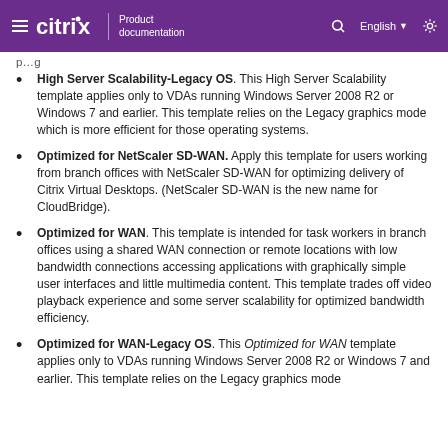Citrix Product documentation | English
High Server Scalability-Legacy OS. This High Server Scalability template applies only to VDAs running Windows Server 2008 R2 or Windows 7 and earlier. This template relies on the Legacy graphics mode which is more efficient for those operating systems.
Optimized for NetScaler SD-WAN. Apply this template for users working from branch offices with NetScaler SD-WAN for optimizing delivery of Citrix Virtual Desktops. (NetScaler SD-WAN is the new name for CloudBridge).
Optimized for WAN. This template is intended for task workers in branch offices using a shared WAN connection or remote locations with low bandwidth connections accessing applications with graphically simple user interfaces and little multimedia content. This template trades off video playback experience and some server scalability for optimized bandwidth efficiency.
Optimized for WAN-Legacy OS. This Optimized for WAN template applies only to VDAs running Windows Server 2008 R2 or Windows 7 and earlier. This template relies on the Legacy graphics mode